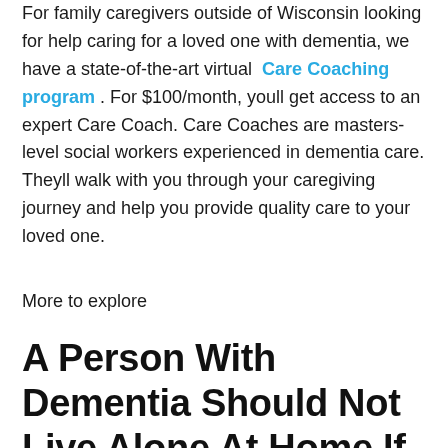For family caregivers outside of Wisconsin looking for help caring for a loved one with dementia, we have a state-of-the-art virtual Care Coaching program . For $100/month, youll get access to an expert Care Coach. Care Coaches are masters-level social workers experienced in dementia care. Theyll walk with you through your caregiving journey and help you provide quality care to your loved one.
More to explore
A Person With Dementia Should Not Live Alone At Home If They Start To Experience The Following:
People with dementia experience cognitive changes that